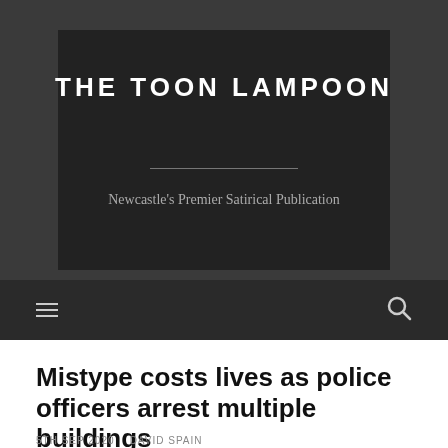THE TOON LAMPOON
Newcastle's Premier Satirical Publication
Mistype costs lives as police officers arrest multiple buildings
5TH SEP 2020   BY DAVID SPAIN